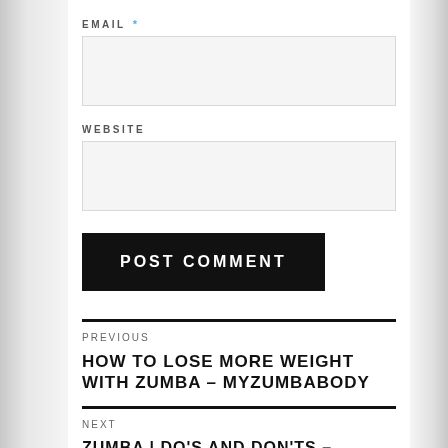EMAIL *
WEBSITE
POST COMMENT
PREVIOUS
HOW TO LOSE MORE WEIGHT WITH ZUMBA – MyZumbaBody
NEXT
ZUMBA | DO'S AND DON'TS – MyZumbaBody